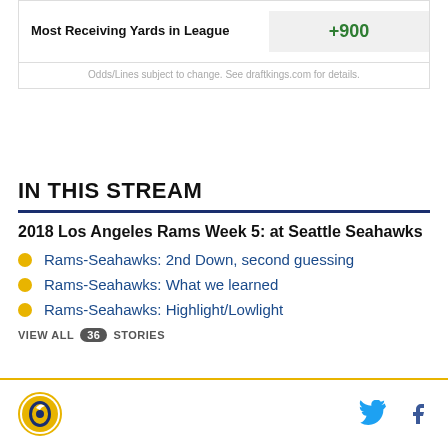| Category | Odds |
| --- | --- |
| Most Receiving Yards in League | +900 |
Odds/Lines subject to change. See draftkings.com for details.
IN THIS STREAM
2018 Los Angeles Rams Week 5: at Seattle Seahawks
Rams-Seahawks: 2nd Down, second guessing
Rams-Seahawks: What we learned
Rams-Seahawks: Highlight/Lowlight
VIEW ALL 36 STORIES
SB Nation logo, Twitter icon, Facebook icon